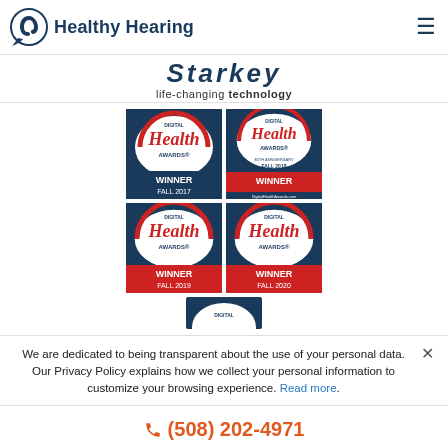Healthy Hearing
life-changing technology
[Figure (illustration): Four Digital Health Awards winner badges arranged in a 2x2 grid: Fall 2017, Fall 2018 (30th Anniversary), Fall 2019, Fall 2020. A partial fifth badge is visible at the bottom center.]
We are dedicated to being transparent about the use of your personal data. Our Privacy Policy explains how we collect your personal information to customize your browsing experience. Read more.
(508) 202-4971